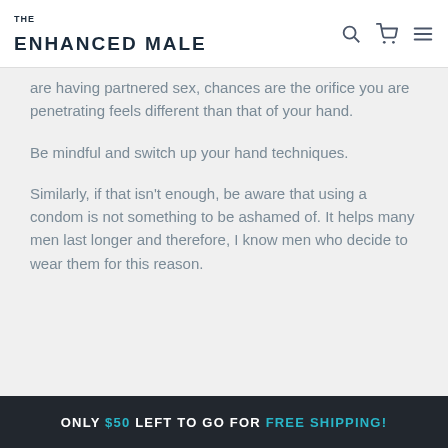THE ENHANCED MALE
are having partnered sex, chances are the orifice you are penetrating feels different than that of your hand.
Be mindful and switch up your hand techniques.
Similarly, if that isn't enough, be aware that using a condom is not something to be ashamed of. It helps many men last longer and therefore, I know men who decide to wear them for this reason.
ONLY $50 LEFT TO GO FOR FREE SHIPPING!